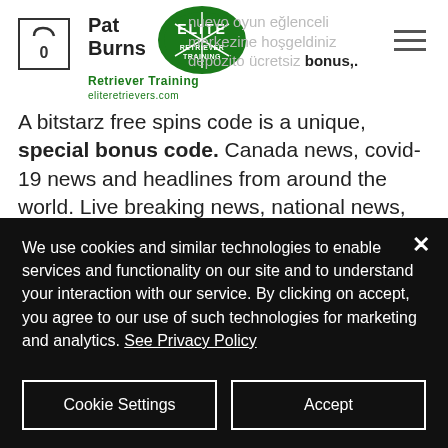[Figure (logo): Cart icon with 0, Pat Burns Elite Retriever Training logo with eliteretrievers.com, and hamburger menu icon]
nuevo oyun eğlenceli merkezine hoşgeldiniz depozito ücretsiz bonus,. A bitstarz free spins code is a unique, special bonus code. Canada news, covid-19 news and headlines from around the world. Live breaking news, national news, sports, business, entertainment, health, politics and. Bitstarz casino bonus codes 2022 | find the best bitstarz casino coupons on chipy. Does bitstarz offer any vip program? Foro desafio hosting - perfil del usuario &gt; perfil página. Usuario: bitstarz promo bonus code, bitstarz
We use cookies and similar technologies to enable services and functionality on our site and to understand your interaction with our service. By clicking on accept, you agree to our use of such technologies for marketing and analytics. See Privacy Policy